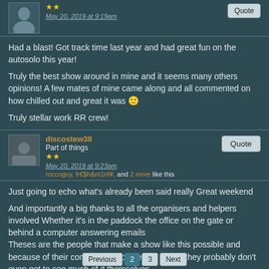May 20, 2019 at 9:19am
Had a blast! Got track time last year and had great fun on the autosolo this year!
Truly the best show around in mine and it seems many others opinions! A few mates of mine came along and all commented on how chilled out and great it was 🙂
Truly stellar work RR crew!
discostew38
Part of things
May 20, 2019 at 9:23am
roccoguy, fr€$h&m1nt¥, and 2 more like this
Just going to echo what's already been said really Great weekend
And importantly a big thanks to all the organisers and helpers involved Whether it's in the paddock the office on the gate or behind a computer answering emails
Theses are the people that make a show like this possible and because of their commitment to keep us happy they probably don't even get to see much of it themselves
🙏